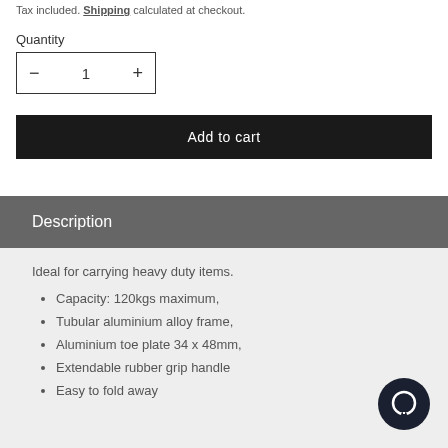Tax included. Shipping calculated at checkout.
Quantity
— 1 +
Add to cart
Description
Ideal for carrying heavy duty items.
Capacity: 120kgs maximum,
Tubular aluminium alloy frame,
Aluminium toe plate 34 x 48mm,
Extendable rubber grip handle
Easy to fold away